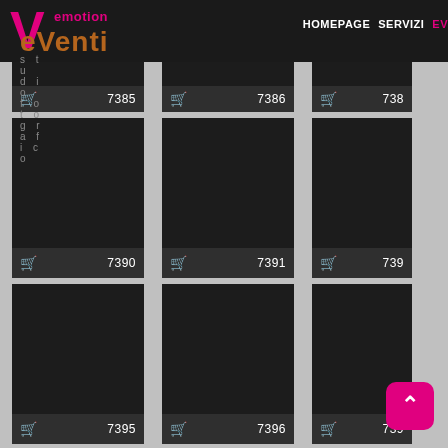[Figure (screenshot): Website screenshot of 'eVenti emotion - studio fotografico' photo gallery page showing a dark-themed grid of photo thumbnails numbered 7385, 7386, 7388, 7390, 7391, 7392, 7395, 7396, 7397 with shopping cart icons. Navigation bar shows HOMEPAGE, SERVIZI, EV links. A pink scroll-to-top button with upward arrow is visible at bottom right.]